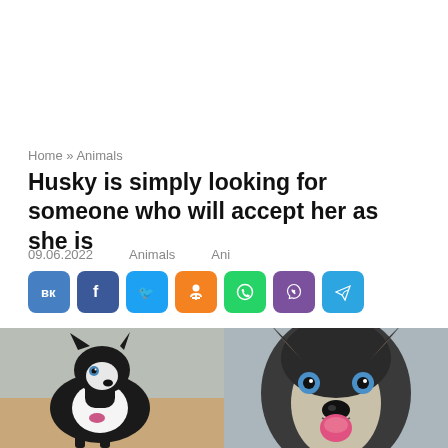Home » Animals
Husky is simply looking for someone who will accept her as she is
09.06.2022   Animals   Ani
[Figure (other): Social media share buttons: VK, Facebook, Twitter, Odnoklassniki, WhatsApp, Viber, Telegram]
[Figure (photo): Two photos of a Husky dog side by side. Left: a black and white Husky with blue eyes wearing a bow, turned slightly sideways. Right: a close-up of a Husky face with blue eyes, tongue out, looking at camera.]